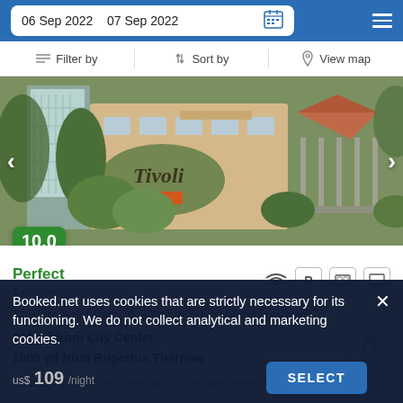06 Sep 2022   07 Sep 2022
Filter by   Sort by   View map
[Figure (photo): Hotel Tivoli exterior photo showing a building with a gazebo, lush greenery, navigation arrows on both sides, and a 10.0 Perfect score badge.]
Perfect
1 review
The largest option:  4 adults  •  3 bedrooms  •  3 beds
600 yd from City Center
1000 yd from Rupertus Thermae
Located in Bad Reichenhall, 15 minutes' walk from
Booked.net uses cookies that are strictly necessary for its functioning. We do not collect analytical and marketing cookies.
us$ 109/night   SELECT